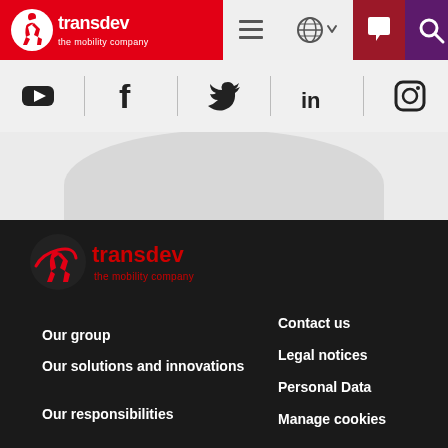[Figure (logo): Transdev 'the mobility company' logo in white on red background in navbar]
[Figure (screenshot): Navigation bar with hamburger menu, globe/language selector, chat icon and search icon]
[Figure (screenshot): Social media icons strip: YouTube, Facebook, Twitter, LinkedIn, Instagram]
[Figure (logo): Transdev 'the mobility company' logo in red/dark on dark footer background]
Our group
Our solutions and innovations
Our responsibilities
Contact us
Legal notices
Personal Data
Manage cookies